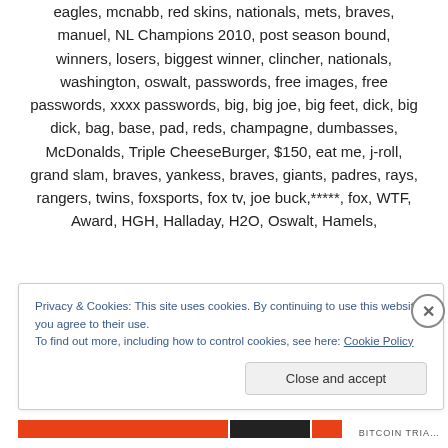eagles, mcnabb, red skins, nationals, mets, braves, manuel, NL Champions 2010, post season bound, winners, losers, biggest winner, clincher, nationals, washington, oswalt, passwords, free images, free passwords, xxxx passwords, big, big joe, big feet, dick, big dick, bag, base, pad, reds, champagne, dumbasses, McDonalds, Triple CheeseBurger, $150, eat me, j-roll, grand slam, braves, yankess, braves, giants, padres, rays, rangers, twins, foxsports, fox tv, joe buck,*****, fox, WTF, Award, HGH, Halladay, H2O, Oswalt, Hamels,
Privacy & Cookies: This site uses cookies. By continuing to use this website, you agree to their use.
To find out more, including how to control cookies, see here: Cookie Policy